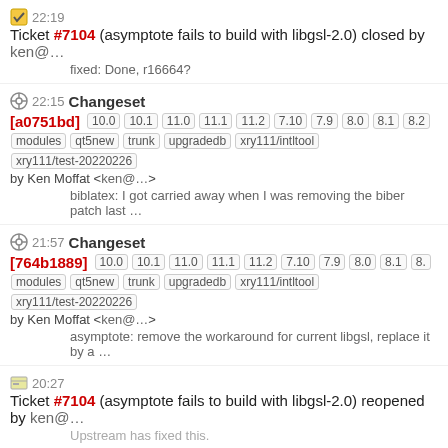22:19 Ticket #7104 (asymptote fails to build with libgsl-2.0) closed by ken@… fixed: Done, r16664?
22:15 Changeset [a0751bd] 10.0 10.1 11.0 11.1 11.2 7.10 7.9 8.0 8.1 8.2 modules qt5new trunk upgradedb xry111/intltool xry111/test-20220226 by Ken Moffat <ken@…> biblatex: I got carried away when I was removing the biber patch last …
21:57 Changeset [764b1889] 10.0 10.1 11.0 11.1 11.2 7.10 7.9 8.0 8.1 8. modules qt5new trunk upgradedb xry111/intltool xry111/test-20220226 by Ken Moffat <ken@…> asymptote: remove the workaround for current libgsl, replace it by a …
20:27 Ticket #7104 (asymptote fails to build with libgsl-2.0) reopened by ken@… Upstream has fixed this.
17:08 Changeset